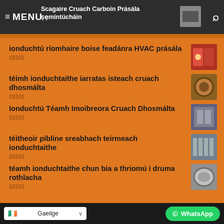Scagaire Cruach Carboin Prásála ṣẹmintúcháin — MENU
ionduchtú ríomhaire boise feadánra HVAC prásála
téimh ionduchtaithe iarratas isteach cruach dhosmálta
Ionduchtú Téamh Imoibreora Cruach Dhosmálta
téitheoir píblíne sreabhach teirmeach ionduchtaithe
téamh ionduchtaithe chun bia a thriomú i druma rothlacha
Gaeilge — WhatsApp